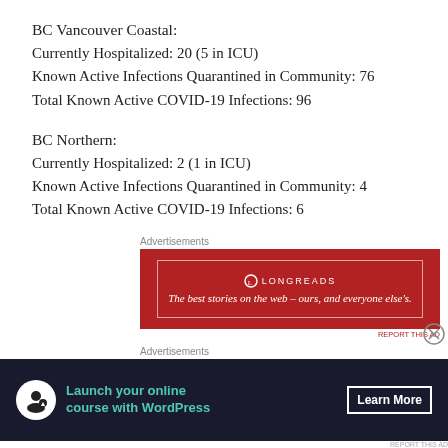BC Vancouver Coastal:
Currently Hospitalized: 20 (5 in ICU)
Known Active Infections Quarantined in Community: 76
Total Known Active COVID-19 Infections: 96
BC Northern:
Currently Hospitalized: 2 (1 in ICU)
Known Active Infections Quarantined in Community: 4
Total Known Active COVID-19 Infections: 6
[Figure (infographic): Advertisement banner with red background showing Longreads logo and text: The best stories on the web – ours, and everyone else's.]
[Figure (infographic): Advertisement banner with dark navy background showing a person/course icon, text: Launch your online course with WordPress, and a Learn More button.]